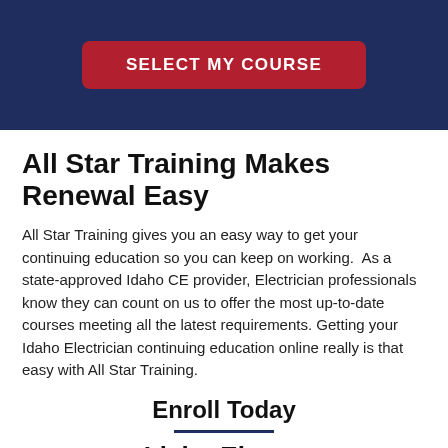[Figure (other): Dark navy blue header band with a red rounded button labeled SELECT MY COURSE in white bold uppercase text]
All Star Training Makes Renewal Easy
All Star Training gives you an easy way to get your continuing education so you can keep on working.  As a state-approved Idaho CE provider, Electrician professionals know they can count on us to offer the most up-to-date courses meeting all the latest requirements. Getting your Idaho Electrician continuing education online really is that easy with All Star Training.
Enroll Today
Idaho Elect...